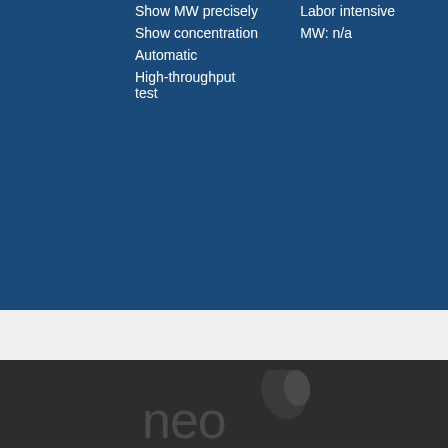| Show MW precisely | Labor intensive |
| Show concentration | MW: n/a |
| Automatic |  |
| High-throughput test |  |
[Figure (logo): NEO Scientific logo — stylized 'neo' text with a leaf/droplet icon above, and 'SCIENTIFIC' text below, rendered in dark gray watermark style on dark background]
Copyrights © 2014 NEO Group 245 First Street, 18th Floor, Cambridge MA 02142 888.754.5670
[Figure (logo): SecureTrust Trusted Commerce badge with 'CLICK TO VALIDATE' green button]